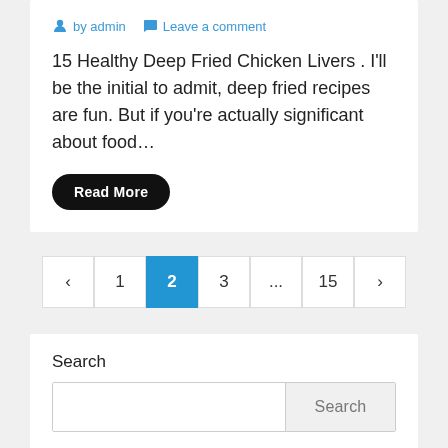by admin   Leave a comment
15 Healthy Deep Fried Chicken Livers . I'll be the initial to admit, deep fried recipes are fun. But if you're actually significant about food…
Read More
< 1 2 3 ... 15 >
Search
Search
Recent Posts